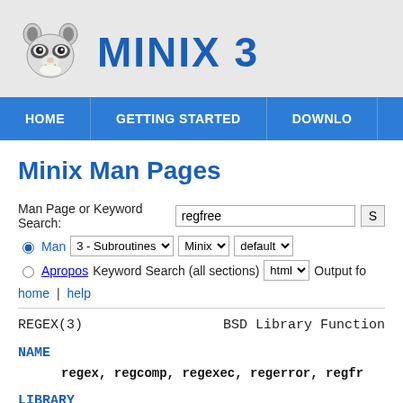[Figure (logo): MINIX 3 website header with raccoon logo and bold blue MINIX 3 title text]
HOME | GETTING STARTED | DOWNLO
Minix Man Pages
Man Page or Keyword Search: regfree
Man  3 - Subroutines  Minix  default
Apropos Keyword Search (all sections)  html  Output fo
home | help
REGEX(3)                                          BSD Library Function
NAME
regex, regcomp, regexec, regerror, regfr
LIBRARY
Standard C library (libc, -lc)